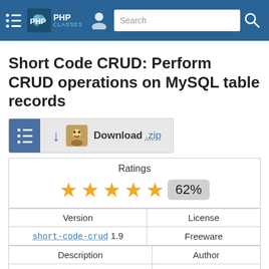PHP Classes — Search
Short Code CRUD: Perform CRUD operations on MySQL table records
Download .zip
| Ratings |
| --- |
| ★★★★★ 62% |
| Version | License |
| --- | --- |
| short-code-crud 1.9 | Freeware |
| Description | Author |
| --- | --- |
| This class can perform CRUD operations on MySQL table records.

It can perform several types of operations with records of a given MySQL table like: |  |